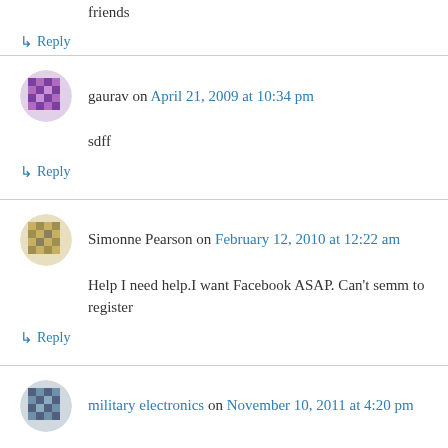friends
↳ Reply
gaurav on April 21, 2009 at 10:34 pm
sdff
↳ Reply
Simonne Pearson on February 12, 2010 at 12:22 am
Help I need help.I want Facebook ASAP. Can't semm to register
↳ Reply
military electronics on November 10, 2011 at 4:20 pm